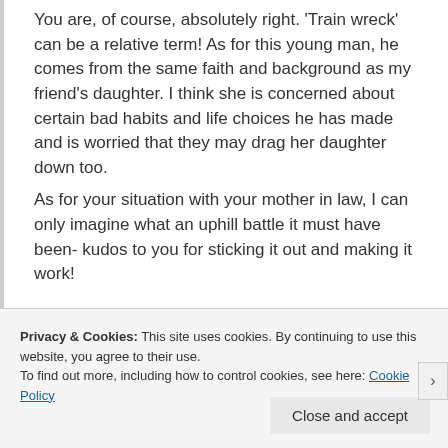You are, of course, absolutely right. 'Train wreck' can be a relative term! As for this young man, he comes from the same faith and background as my friend's daughter. I think she is concerned about certain bad habits and life choices he has made and is worried that they may drag her daughter down too.
As for your situation with your mother in law, I can only imagine what an uphill battle it must have been- kudos to you for sticking it out and making it work!
Reply
Privacy & Cookies: This site uses cookies. By continuing to use this website, you agree to their use.
To find out more, including how to control cookies, see here: Cookie Policy
Close and accept